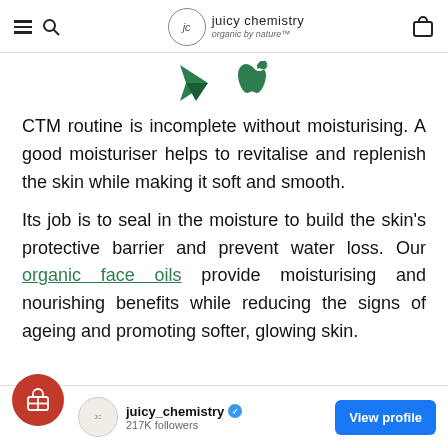juicy chemistry organic by nature
[Figure (logo): Google Play and Apple App Store icons]
CTM routine is incomplete without moisturising. A good moisturiser helps to revitalise and replenish the skin while making it soft and smooth.
Its job is to seal in the moisture to build the skin's protective barrier and prevent water loss. Our organic face oils provide moisturising and nourishing benefits while reducing the signs of ageing and promoting softer, glowing skin.
juicy_chemistry 217K followers View profile